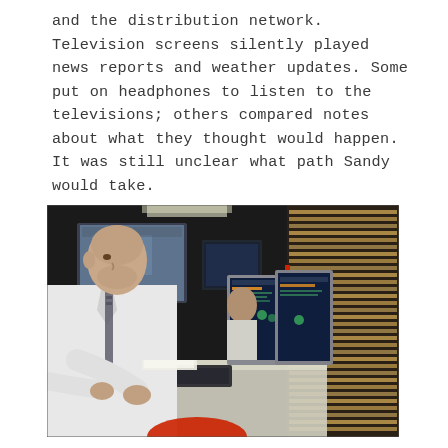and the distribution network. Television screens silently played news reports and weather updates. Some put on headphones to listen to the televisions; others compared notes about what they thought would happen. It was still unclear what path Sandy would take.
[Figure (photo): A man in a white dress shirt and tie sits at a large workstation with multiple computer monitors displaying data screens. Behind him is a large video wall and another person at a desk. To the right is a wall covered with labeled panels or boards. The setting appears to be an operations or emergency management control room.]